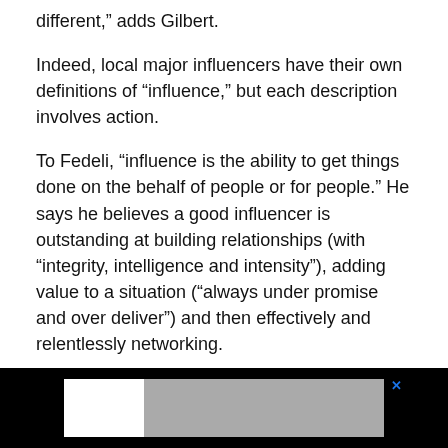different,” adds Gilbert.
Indeed, local major influencers have their own definitions of “influence,” but each description involves action.
To Fedeli, “influence is the ability to get things done on the behalf of people or for people.” He says he believes a good influencer is outstanding at building relationships (with “integrity, intelligence and intensity”), adding value to a situation (“always under promise and over deliver”) and then effectively and relentlessly networking.
“You can get anything in life you want if you help enough people,” says Fedeli. “You always want to think, ‘How
[Figure (other): Advertisement banner with white and gray sections and close button X]